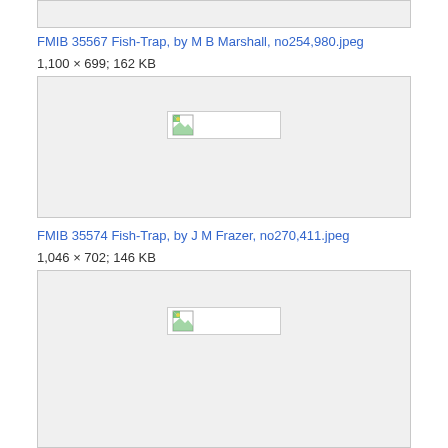[Figure (other): Top partial image box, clipped at top of page]
FMIB 35567 Fish-Trap, by M B Marshall, no254,980.jpeg
1,100 × 699; 162 KB
[Figure (other): Placeholder image box with broken image icon for FMIB 35567 Fish-Trap]
FMIB 35574 Fish-Trap, by J M Frazer, no270,411.jpeg
1,046 × 702; 146 KB
[Figure (other): Placeholder image box with broken image icon for FMIB 35574 Fish-Trap]